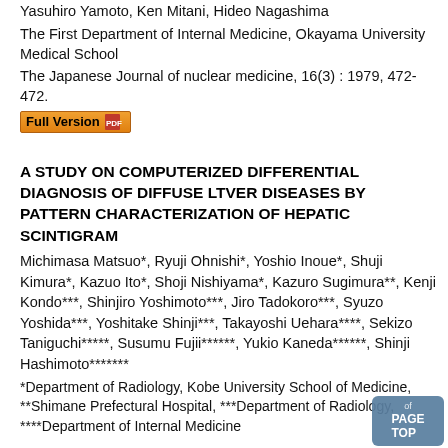Yasuhiro Yamoto, Ken Mitani, Hideo Nagashima
The First Department of Internal Medicine, Okayama University Medical School
The Japanese Journal of nuclear medicine, 16(3) : 1979, 472-472.
[Figure (other): Full Version button with PDF icon]
A STUDY ON COMPUTERIZED DIFFERENTIAL DIAGNOSIS OF DIFFUSE LTVER DISEASES BY PATTERN CHARACTERIZATION OF HEPATIC SCINTIGRAM
Michimasa Matsuo*, Ryuji Ohnishi*, Yoshio Inoue*, Shuji Kimura*, Kazuo Ito*, Shoji Nishiyama*, Kazuro Sugimura**, Kenji Kondo***, Shinjiro Yoshimoto***, Jiro Tadokoro***, Syuzo Yoshida***, Yoshitake Shinji***, Takayoshi Uehara****, Sekizo Taniguchi*****, Susumu Fujii******, Yukio Kaneda******, Shinji Hashimoto*******
*Department of Radiology, Kobe University School of Medicine, **Shimane Prefectural Hospital, ***Department of Radiology, ****Department of Internal Medicine